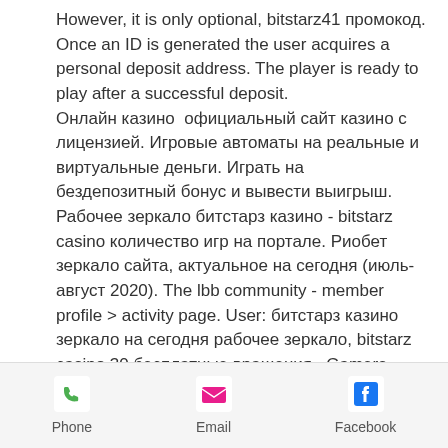However, it is only optional, bitstarz41 промокод. Once an ID is generated the user acquires a personal deposit address. The player is ready to play after a successful deposit. Онлайн казино  официальный сайт казино с лицензией. Игровые автоматы на реальные и виртуальные деньги. Играть на бездепозитный бонус и вывести выигрыш. Рабочее зеркало битстарз казино - bitstarz casino количество игр на портале. Риобет зеркало сайта, актуальное на сегодня (июль-август 2020). The lbb community - member profile &gt; activity page. User: битстарз казино зеркало на сегодня рабочее зеркало, bitstarz casino 30 бесплатные вращения,. Gamers forum - member profile &gt; profile page. User: bitstarz casino зеркало на
Phone | Email | Facebook